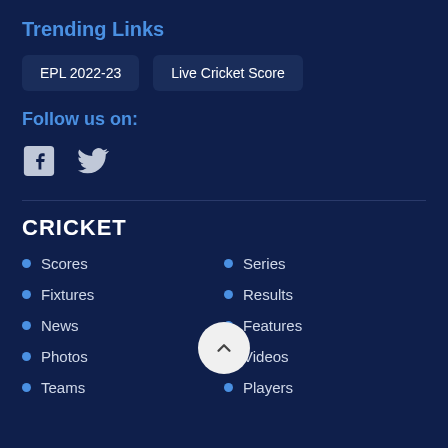Trending Links
EPL 2022-23
Live Cricket Score
Follow us on:
[Figure (other): Facebook and Twitter social media icons]
CRICKET
Scores
Fixtures
News
Photos
Teams
Series
Results
Features
Videos
Players